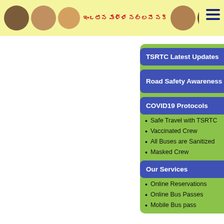TSRTC website header with Telugu text banner and navigation menu icon
TSRTC Latest Updates
Road Safety Awareness
COVID19 Protocols
Safe Travel with TSRTC
Vaccinated Crew
All Buses are Sanitized
Masked Crew
Our Services
Online Reservations
Online Bus Passes
Mobile Bus pass